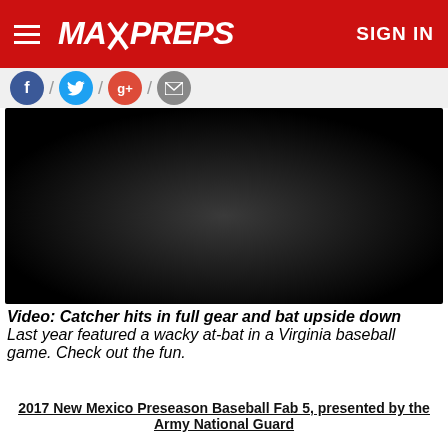MaxPreps — SIGN IN
[Figure (screenshot): Social media share icons row: Facebook, Twitter, Google+, Email with slash separators]
[Figure (photo): Dark video thumbnail with vignette/radial gradient, a video player area showing a dark frame]
Video: Catcher hits in full gear and bat upside down
Last year featured a wacky at-bat in a Virginia baseball game. Check out the fun.
2017 New Mexico Preseason Baseball Fab 5, presented by the Army National Guard